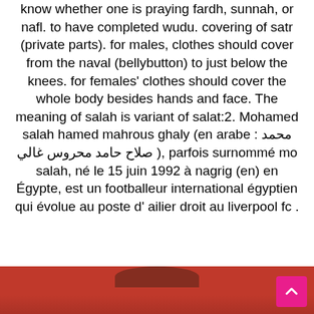know whether one is praying fardh, sunnah, or nafl. to have completed wudu. covering of satr (private parts). for males, clothes should cover from the naval (bellybutton) to just below the knees. for females' clothes should cover the whole body besides hands and face. The meaning of salah is variant of salat:2. Mohamed salah hamed mahrous ghaly (en arabe : محمد صلاح حامد محروس غالي ), parfois surnommé mo salah, né le 15 juin 1992 à nagrig (en) en Égypte, est un footballeur international égyptien qui évolue au poste d' ailier droit au liverpool fc .
[Figure (photo): Bottom portion of a photo showing a person, with a red/orange background. A pink scroll-to-top button is visible in the bottom right corner.]